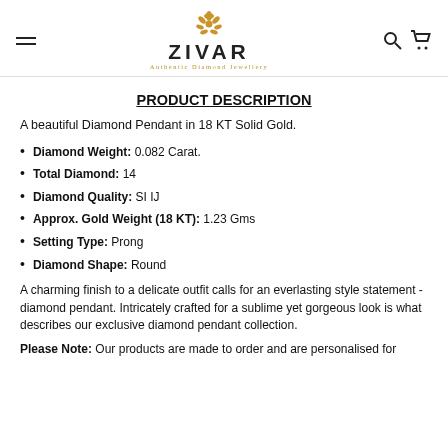ZIVAR — Authentic Diamond Jewellery
PRODUCT DESCRIPTION
A beautiful Diamond Pendant in 18 KT Solid Gold.
Diamond Weight: 0.082 Carat.
Total Diamond: 14
Diamond Quality: SI IJ
Approx. Gold Weight (18 KT): 1.23 Gms
Setting Type: Prong
Diamond Shape: Round
A charming finish to a delicate outfit calls for an everlasting style statement - diamond pendant. Intricately crafted for a sublime yet gorgeous look is what describes our exclusive diamond pendant collection.
Please Note: Our products are made to order and are personalised for